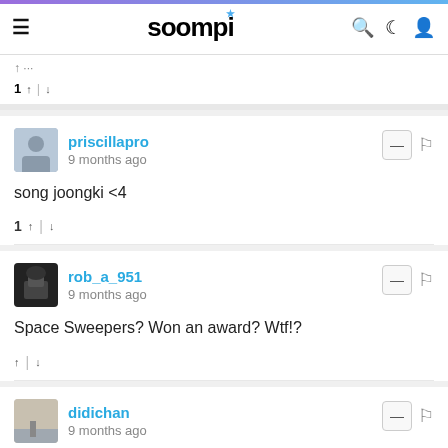soompi
song joongki <4
priscillapro · 9 months ago
Space Sweepers? Won an award? Wtf!?
rob_a_951 · 9 months ago
Jeon Do Yeon Is just the best … congratulations 🤍♥️🤍🤍
didichan · 9 months ago
irilight · 9 months ago